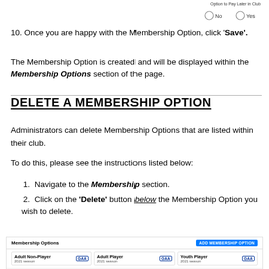[Figure (screenshot): Radio buttons for 'Option to Pay Later in Club' showing No and Yes options]
10. Once you are happy with the Membership Option, click 'Save'.
The Membership Option is created and will be displayed within the Membership Options section of the page.
DELETE A MEMBERSHIP OPTION
Administrators can delete Membership Options that are listed within their club.
To do this, please see the instructions listed below:
1. Navigate to the Membership section.
2. Click on the 'Delete' button below the Membership Option you wish to delete.
[Figure (screenshot): Membership Options section showing Adult Non-Player, Adult Player, and Youth Player cards with GAA logos and Add Membership Option button]